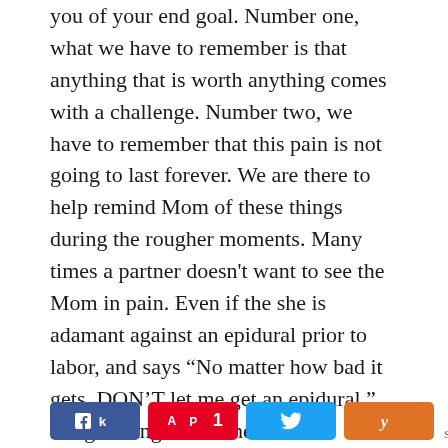you of your end goal. Number one, what we have to remember is that anything that is worth anything comes with a challenge. Number two, we have to remember that this pain is not going to last forever. We are there to help remind Mom of these things during the rougher moments. Many times a partner doesn't want to see the Mom in pain. Even if the she is adamant against an epidural prior to labor, and says “No matter how bad it gets, DON’T let me get an epidural,” things change in the heat of the moment. Most partners don’t want to watch Mom in pain, so they tend to go against her wishes and sway her into something she is against. A really cool thing Doula’s can do through this transition time is guide Mom through techniques (such as hypnobirthing) that will naturally help with the pain
[Figure (infographic): Social share bar with Facebook, Pinterest (count: 1), Twitter, Yummly buttons and a share count of 1 SHARES]